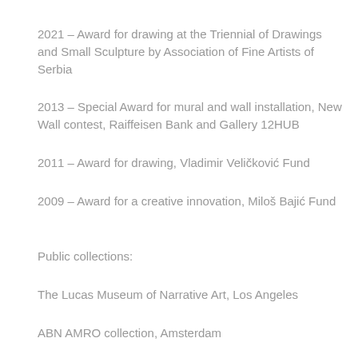2021 – Award for drawing at the Triennial of Drawings and Small Sculpture by Association of Fine Artists of Serbia
2013 – Special Award for mural and wall installation, New Wall contest, Raiffeisen Bank and Gallery 12HUB
2011 – Award for drawing, Vladimir Veličković Fund
2009 – Award for a creative innovation, Miloš Bajić Fund
Public collections:
The Lucas Museum of Narrative Art, Los Angeles
ABN AMRO collection, Amsterdam